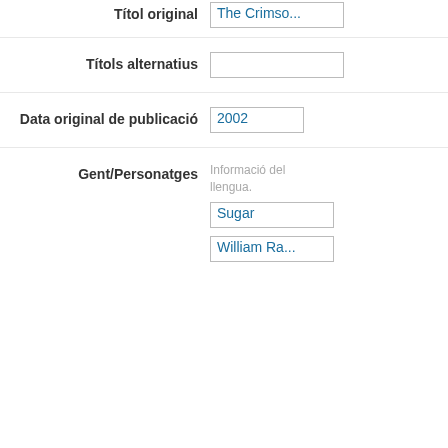| Field | Value |
| --- | --- |
| Títol original | The Crimso... |
| Títols alternatius |  |
| Data original de publicació | 2002 |
| Gent/Personatges | Informació del... llengua.
Sugar
William Ra... |
Aquest lloc utilitza galetes per a oferir els nostres serveis, millorar el
Hi estic d'acord
desenvolupament, per a anàlisis i (si no has iniciat la sessió) per a publicitat. Utilitzant LibraryThing acceptes que has llegit i entès els nostres Termes de servei i política de privacitat. L'ús que facis del lloc i dels seus serveis està subjecte a aquestes polítiques i termes.